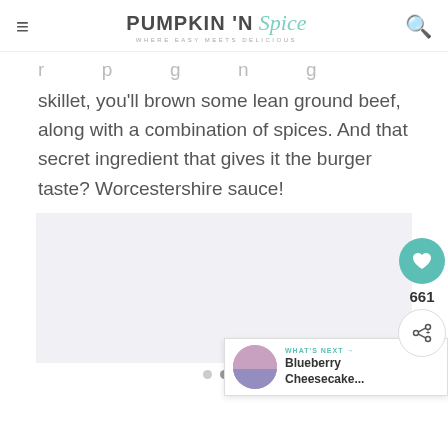PUMPKIN 'N Spice — WHERE EASY MEETS DELICIOUS
r p g n g skillet, you'll brown some lean ground beef, along with a combination of spices. And that secret ingredient that gives it the burger taste? Worcestershire sauce!
[Figure (photo): Image placeholder area with carousel dots below]
661
WHAT'S NEXT → Blueberry Cheesecake...